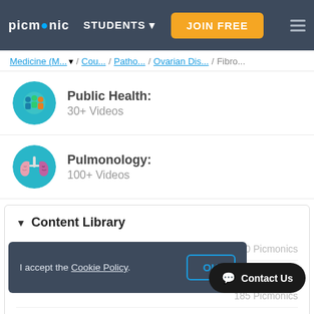picmonic | STUDENTS | JOIN FREE
Medicine (M... / Cou... / Patho... / Ovarian Dis... / Fibro...
Public Health: 30+ Videos
Pulmonology: 100+ Videos
▼ Content Library
1. Anatomy & Embryology   110 Picmonics
2. Biochemistry   204 Picmonics
185 Picmonics
I accept the Cookie Policy.
OK
Contact Us
5. Emergency Medicine   182 Picmonics